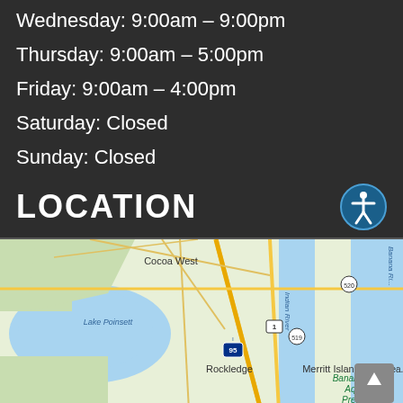Wednesday: 9:00am – 9:00pm
Thursday: 9:00am – 5:00pm
Friday: 9:00am – 4:00pm
Saturday: Closed
Sunday: Closed
LOCATION
[Figure (map): Street map showing Cocoa West, Rockledge, Merritt Island, Cocoa Beach, Lake Poinsett, Banana River Aquatic Preserve, Indian River, Banana River with highway markers I-95, US-1, 519, 520]